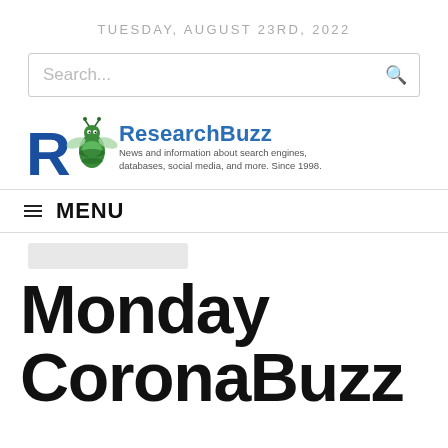TUESDAY, AUGUST 23RD, 2022
[Figure (screenshot): Search bar with placeholder text 'Search...' and a search icon on the right]
[Figure (logo): ResearchBuzz logo with bee mascot, blue and green colors, with tagline 'News and information about search engines, databases, social media, and more. Since 1998.']
MENU
[Figure (other): Light gray category badge/label placeholder]
Monday CoronaBuzz